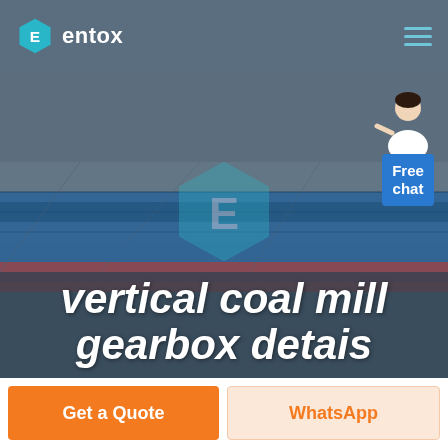entox
[Figure (screenshot): Aerial view of an industrial warehouse/factory complex with blue roofs. Entox logo watermark visible in center. Large bold italic white text overlay reads 'vertical coal mill gearbox detais'. A customer service representative avatar appears in top-right corner with a 'Free chat' blue button.]
vertical coal mill gearbox detais
Get a Quote
WhatsApp